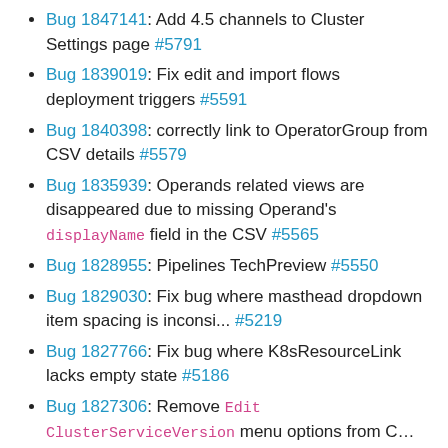Bug 1847141: Add 4.5 channels to Cluster Settings page #5791
Bug 1839019: Fix edit and import flows deployment triggers #5591
Bug 1840398: correctly link to OperatorGroup from CSV details #5579
Bug 1835939: Operands related views are disappeared due to missing Operand's displayName field in the CSV #5565
Bug 1828955: Pipelines TechPreview #5550
Bug 1829030: Fix bug where masthead dropdown item spacing is inconsi... #5219
Bug 1827766: Fix bug where K8sResourceLink lacks empty state #5186
Bug 1827306: Remove Edit ClusterServiceVersion menu options from C... #5173
Bug 1824049: Handle undefined MachineConfigPools status #5102